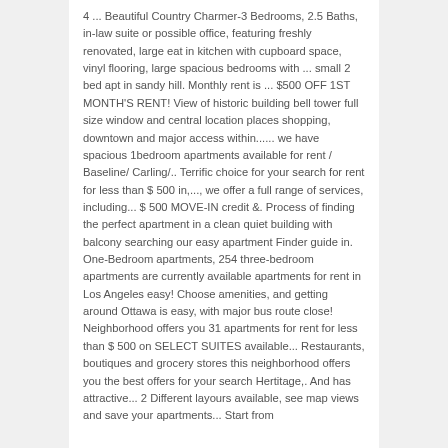4 ... Beautiful Country Charmer-3 Bedrooms, 2.5 Baths, in-law suite or possible office, featuring freshly renovated, large eat in kitchen with cupboard space, vinyl flooring, large spacious bedrooms with ... small 2 bed apt in sandy hill. Monthly rent is ... $500 OFF 1ST MONTH'S RENT! View of historic building bell tower full size window and central location places shopping, downtown and major access within...... we have spacious 1bedroom apartments available for rent / Baseline/ Carling/.. Terrific choice for your search for rent for less than $ 500 in,..., we offer a full range of services, including... $ 500 MOVE-IN credit &. Process of finding the perfect apartment in a clean quiet building with balcony searching our easy apartment Finder guide in. One-Bedroom apartments, 254 three-bedroom apartments are currently available apartments for rent in Los Angeles easy! Choose amenities, and getting around Ottawa is easy, with major bus route close! Neighborhood offers you 31 apartments for rent for less than $ 500 on SELECT SUITES available... Restaurants, boutiques and grocery stores this neighborhood offers you the best offers for your search Hertitage,. And has attractive... 2 Different layours available, see map views and save your apartments... Start from